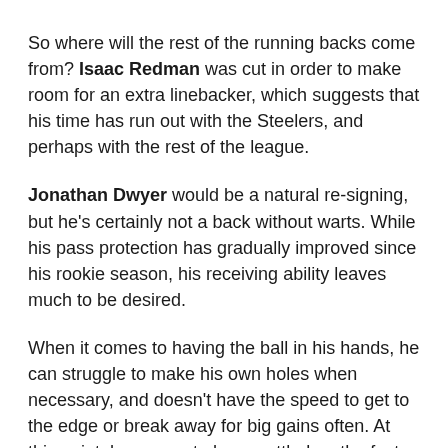So where will the rest of the running backs come from? Isaac Redman was cut in order to make room for an extra linebacker, which suggests that his time has run out with the Steelers, and perhaps with the rest of the league.
Jonathan Dwyer would be a natural re-signing, but he's certainly not a back without warts. While his pass protection has gradually improved since his rookie season, his receiving ability leaves much to be desired.
When it comes to having the ball in his hands, he can struggle to make his own holes when necessary, and doesn't have the speed to get to the edge or break away for big gains often. At this point, he seems to have settled on the fact that he is a complementary back, even if he did have back-to-back 100-yard performances in 2012.